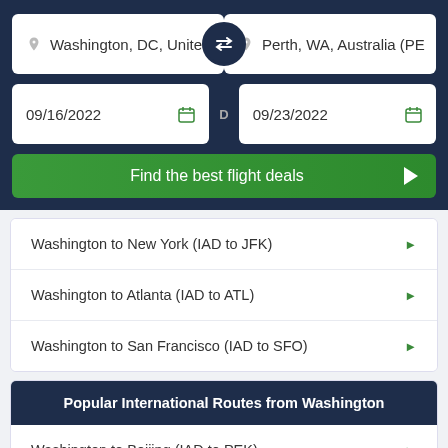Washington, DC, United
Perth, WA, Australia (PE
09/16/2022
09/23/2022
Find the best flight deals
Washington to New York (IAD to JFK)
Washington to Atlanta (IAD to ATL)
Washington to San Francisco (IAD to SFO)
Popular International Routes from Washington
Washington to Beijing (IAD to PEK)
Washington to London (IAD to LHR)